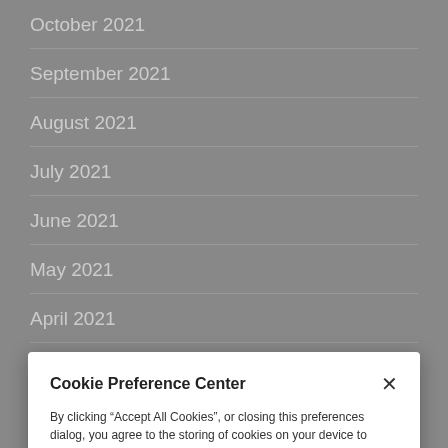October 2021
September 2021
August 2021
July 2021
June 2021
May 2021
April 2021
March 2021
February 2021
December 2020
November 2020
Cookie Preference Center
By clicking “Accept All Cookies”, or closing this preferences dialog, you agree to the storing of cookies on your device to enhance site navigation, analyze site usage, and assist in our marketing efforts. [View Endeca's]